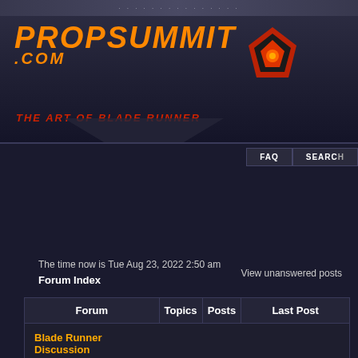PropSummit.com — The Art of Blade Runner
The time now is Tue Aug 23, 2022 2:50 am
Forum Index
View unanswered posts
| Forum | Topics | Posts | Last Post |
| --- | --- | --- | --- |
| Blade Runner Discussion |  |  |  |
| Replica and Screen Used Props
Post about Blade Runner props you are building, acquiring, showing off, or just have questions about. | 787 | 16231 | Wed Jul 13, 2022 10:22 am
joberg |
| Blade Runner Blaster Information and Discussion
A place to share information about the Blade Runner Blaster so | 826 | 16069 | Thu May 05, 2022 7:30 am
joberg |